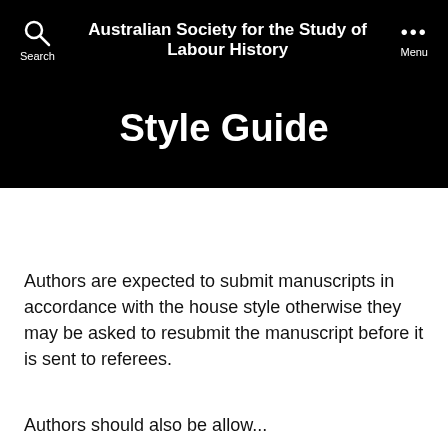Search | Australian Society for the Study of Labour History | Menu
Style Guide
Authors are expected to submit manuscripts in accordance with the house style otherwise they may be asked to resubmit the manuscript before it is sent to referees.